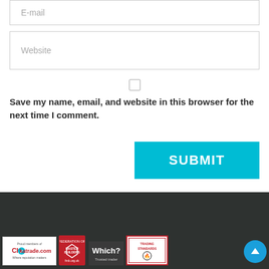E-mail
Website
Save my name, email, and website in this browser for the next time I comment.
SUBMIT
[Figure (logo): Checkatrade.com logo - Proud members of Checkatrade.com Where reputation matters]
[Figure (logo): Federation of Master Builders logo]
[Figure (logo): Which? Trusted trader logo]
[Figure (logo): Trading Standards logo]